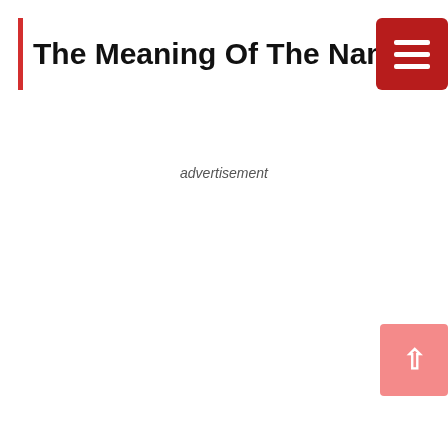The Meaning Of The Name Fuamna
advertisement
[Figure (other): Scroll-to-top button with upward arrow chevron in light pink/salmon color]